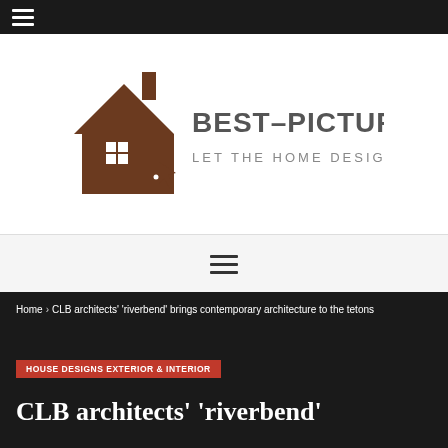☰
[Figure (logo): Best-Picture logo: house icon in brown with text BEST-PICTURE and subtitle LET THE HOME DESIGN BEGIN]
☰ (navigation menu icon)
Home > CLB architects' 'riverbend' brings contemporary architecture to the tetons
HOUSE DESIGNS EXTERIOR & INTERIOR
CLB architects' 'riverbend'